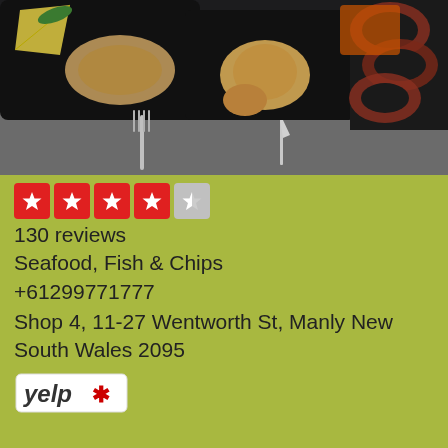[Figure (photo): Food photo showing seafood dishes on dark plates with a fork visible, including fried calamari rings and other fried seafood items with lemon]
[Figure (other): Yelp star rating: 4.5 out of 5 stars shown as 4 full red star boxes and 1 half/grey star box]
130 reviews
Seafood, Fish & Chips
+61299771777
Shop 4, 11-27 Wentworth St, Manly New South Wales 2095
[Figure (logo): Yelp logo in red and black italic text with burst/asterisk symbol]
The Manly Harbour Loft Bed & Breakfast
The Manly Harbour Loft Bed & Breakfast